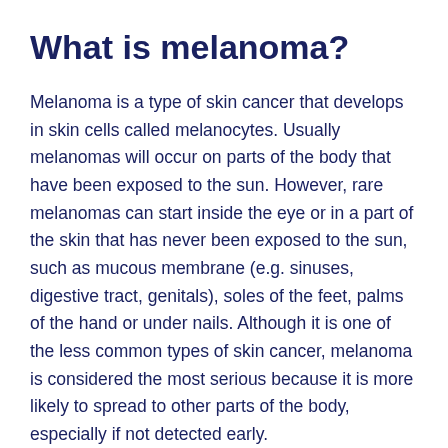What is melanoma?
Melanoma is a type of skin cancer that develops in skin cells called melanocytes. Usually melanomas will occur on parts of the body that have been exposed to the sun. However, rare melanomas can start inside the eye or in a part of the skin that has never been exposed to the sun, such as mucous membrane (e.g. sinuses, digestive tract, genitals), soles of the feet, palms of the hand or under nails. Although it is one of the less common types of skin cancer, melanoma is considered the most serious because it is more likely to spread to other parts of the body, especially if not detected early.
You can access further information about melanoma,